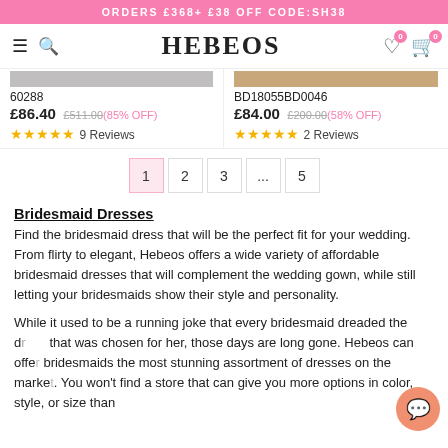ORDERS £368+ £38 OFF CODE:SH38
HEBEOS
60288
£86.40 £511.00 (85% OFF) ★★★★★ 9 Reviews
BD18055BD0046
£84.00 £200.00 (58% OFF) ★★★★★ 2 Reviews
1 2 3 ... 5
Bridesmaid Dresses
Find the bridesmaid dress that will be the perfect fit for your wedding. From flirty to elegant, Hebeos offers a wide variety of affordable bridesmaid dresses that will complement the wedding gown, while still letting your bridesmaids show their style and personality.
While it used to be a running joke that every bridesmaid dreaded the dress that was chosen for her, those days are long gone. Hebeos can offer bridesmaids the most stunning assortment of dresses on the market. You won't find a store that can give you more options in color, style, or size than